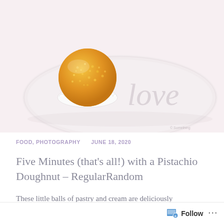[Figure (photo): Close-up photo of a sugar-coated pistachio doughnut ball on a white scalloped paper cup, placed on a white plate with the word 'love' printed in a light script font, soft white background.]
FOOD, PHOTOGRAPHY   JUNE 18, 2020
Five Minutes (that's all!) with a Pistachio Doughnut – RegularRandom
These little balls of pastry and cream are deliciously flavour-packed, with a great texture and are just the